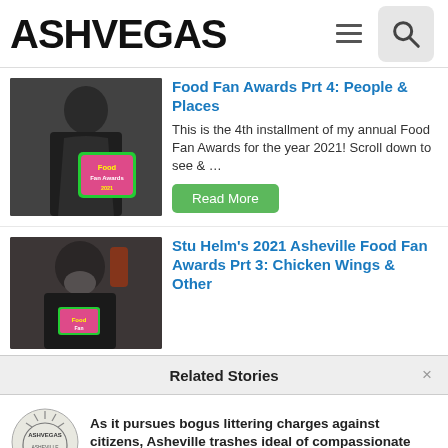ASHVEGAS
Food Fan Awards Prt 4: People & Places
This is the 4th installment of my annual Food Fan Awards for the year 2021! Scroll down to see & …
Read More
Stu Helm's 2021 Asheville Food Fan Awards Prt 3: Chicken Wings & Other
Related Stories
As it pursues bogus littering charges against citizens, Asheville trashes ideal of compassionate city